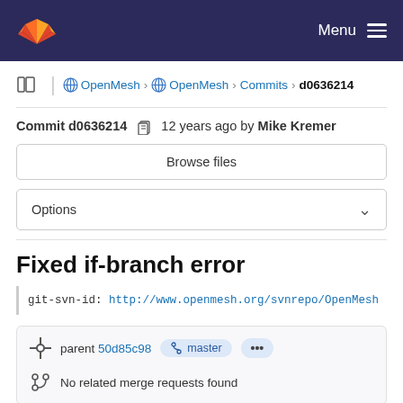GitLab — Menu
OpenMesh › OpenMesh › Commits › d0636214
Commit d0636214  12 years ago by Mike Kremer
Browse files
Options
Fixed if-branch error
git-svn-id: http://www.openmesh.org/svnrepo/OpenMesh
parent 50d85c98  master  ...
No related merge requests found